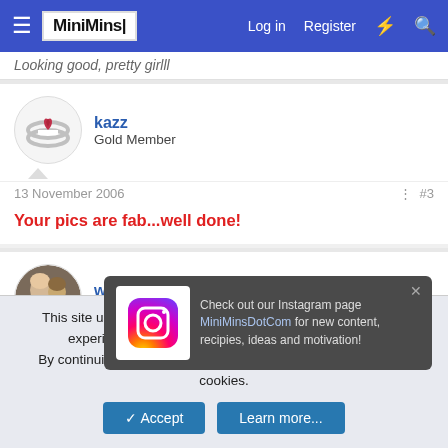MiniMins — Log in | Register
Looking good, pretty girlll
kazz
Gold Member
13 November 2006  #3
Your pics are fab...well done!
wecandothis
Member
13 November 2006  #4
Check out our Instagram page MiniMinsDotCom for new content, recipies, ideas and motivation!
This site uses cookies to help personalise content, tailor your experience and to keep you logged in if you register.
By continuing to use this site, you are consenting to our use of cookies.